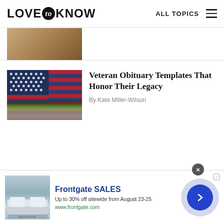LOVE to KNOW | ALL TOPICS
[Figure (photo): Partial photo of a person, cropped at top of page]
Veteran Obituary Templates That Honor Their Legacy
By Kate Miller-Wilson
[Figure (photo): American flag with stars and pink tulips on grey background]
[Figure (photo): Advertisement image showing bedroom with bedding]
Frontgate SALES
Up to 30% off sitewide from August 23-25
www.frontgate.com